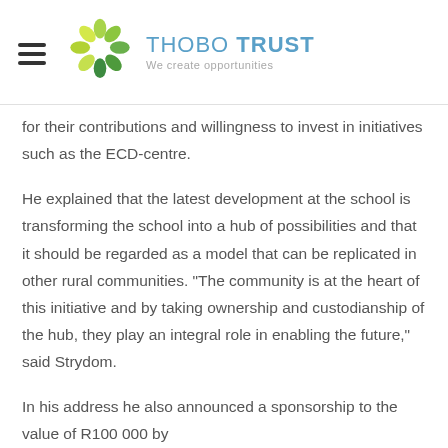THOBO TRUST — We create opportunities
for their contributions and willingness to invest in initiatives such as the ECD-centre.
He explained that the latest development at the school is transforming the school into a hub of possibilities and that it should be regarded as a model that can be replicated in other rural communities. “The community is at the heart of this initiative and by taking ownership and custodianship of the hub, they play an integral role in enabling the future,” said Strydom.
In his address he also announced a sponsorship to the value of R100 000 by